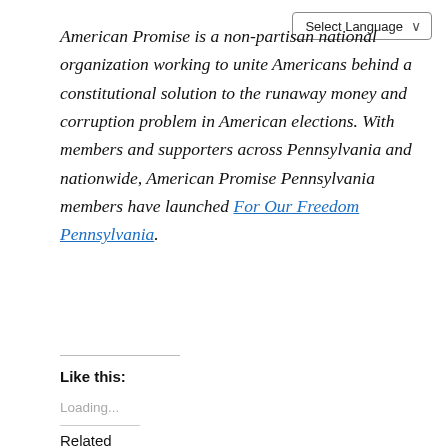[Figure (screenshot): Select Language dropdown widget in top-right corner]
American Promise is a non-partisan national organization working to unite Americans behind a constitutional solution to the runaway money and corruption problem in American elections. With members and supporters across Pennsylvania and nationwide, American Promise Pennsylvania members have launched For Our Freedom Pennsylvania.
Like this:
Loading...
Related
[Figure (screenshot): Thumbnail image with text 'Here’s how reacted to the 2022-23 state budget']
[Figure (screenshot): Thumbnail with text 'Planned Parenthood Pennsylvania Advocates Responds to No Right to Abortion Constitutional Amendment MY CHOICE' with raised fist graphic]